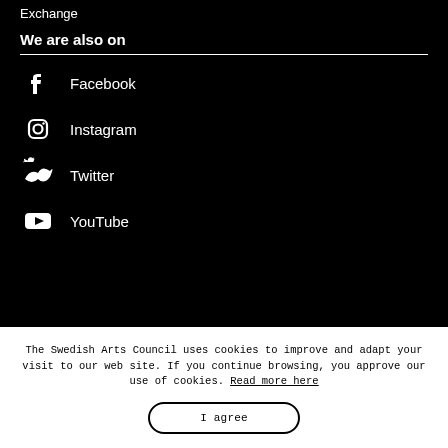Exchange
We are also on
Facebook
Instagram
Twitter
YouTube
The Swedish Arts Council uses cookies to improve and adapt your visit to our web site. If you continue browsing, you approve our use of cookies. Read more here
I agree